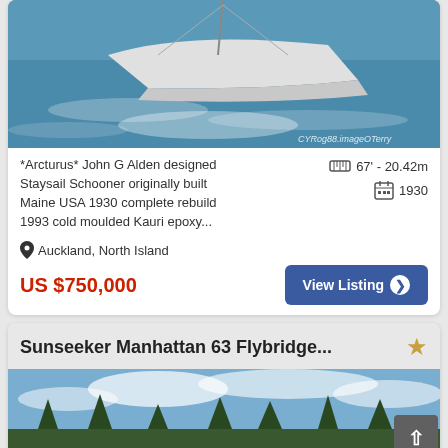[Figure (photo): Sailboat (Arcturus) racing on choppy water with white hull, sails and rigging visible, watermark CYRog88.imageOTerry]
*Arcturus* John G Alden designed Staysail Schooner originally built Maine USA 1930 complete rebuild 1993 cold moulded Kauri epoxy...
67' - 20.42m
1930
Auckland, North Island
US $750,000
View Listing
Sunseeker Manhattan 63 Flybridge...
[Figure (photo): Motor yacht listing photo showing a harbour or marina scene with blue sky and trees in the background]